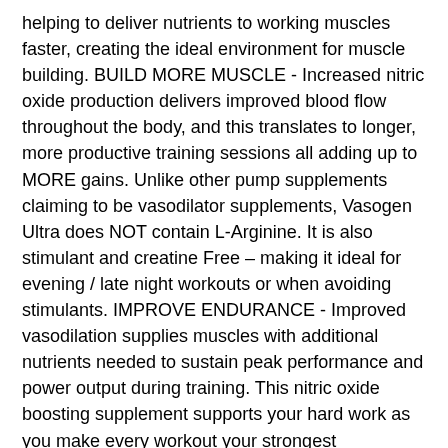helping to deliver nutrients to working muscles faster, creating the ideal environment for muscle building. BUILD MORE MUSCLE - Increased nitric oxide production delivers improved blood flow throughout the body, and this translates to longer, more productive training sessions all adding up to MORE gains. Unlike other pump supplements claiming to be vasodilator supplements, Vasogen Ultra does NOT contain L-Arginine. It is also stimulant and creatine Free – making it ideal for evening / late night workouts or when avoiding stimulants. IMPROVE ENDURANCE - Improved vasodilation supplies muscles with additional nutrients needed to sustain peak performance and power output during training. This nitric oxide boosting supplement supports your hard work as you make every workout your strongest performance and focus on building more endurance, stamina and powerful pumps. HIGH QUALITY – VMI Sports creates high quality, performance-driven sports nutrition supplements that work. Our premium supplements are for every level of athlete, from competitive bodybuilders and endurance athletes to fitness enthusiasts. 30 DAY SUPPLY – Contains a four-week cycle.
The recommended dose is 2 capsules, taken 20 – 30 minutes